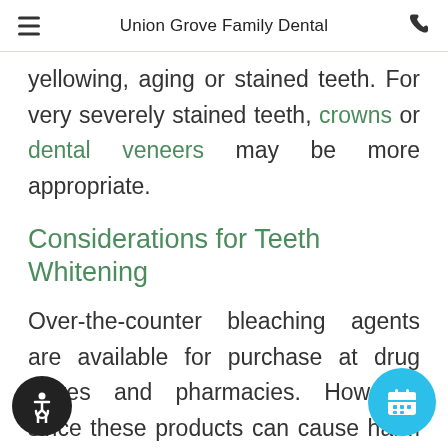Union Grove Family Dental
yellowing, aging or stained teeth. For very severely stained teeth, crowns or dental veneers may be more appropriate.
Considerations for Teeth Whitening
Over-the-counter bleaching agents are available for purchase at drug stores and pharmacies. However, since these products can cause harm to the gums and teeth, it's better to use products